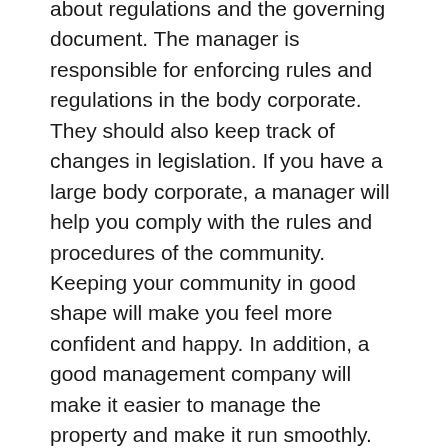about regulations and the governing document. The manager is responsible for enforcing rules and regulations in the body corporate. They should also keep track of changes in legislation. If you have a large body corporate, a manager will help you comply with the rules and procedures of the community. Keeping your community in good shape will make you feel more confident and happy. In addition, a good management company will make it easier to manage the property and make it run smoothly.
A good body corporate manager will be able to answer questions about rules and regulations and how they affect your property. An effective body corporate manager will also communicate effectively with insurers. It will ensure that your building and the community remain in good condition. A good body corporate manager will also be able to manage finances. A